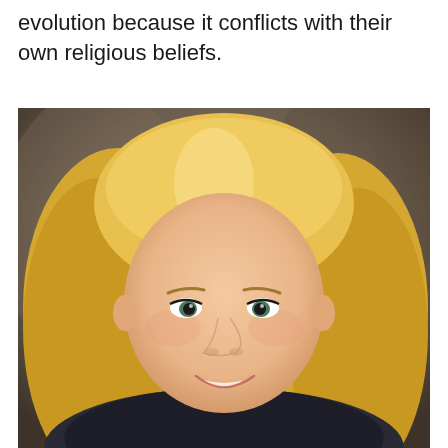And of course there are teachers who don't teach evolution because it conflicts with their own religious beliefs.
[Figure (photo): Professional headshot of a smiling woman with long blonde hair, wearing a dark top, against a blurred brown/grey background.]